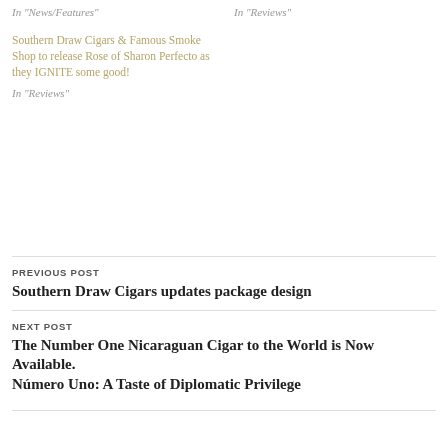In "News/Features"
In "Reviews"
Southern Draw Cigars & Famous Smoke Shop to release Rose of Sharon Perfecto as they IGNITE some good!
In "Reviews"
PREVIOUS POST
Southern Draw Cigars updates package design
NEXT POST
The Number One Nicaraguan Cigar to the World is Now Available. Número Uno: A Taste of Diplomatic Privilege